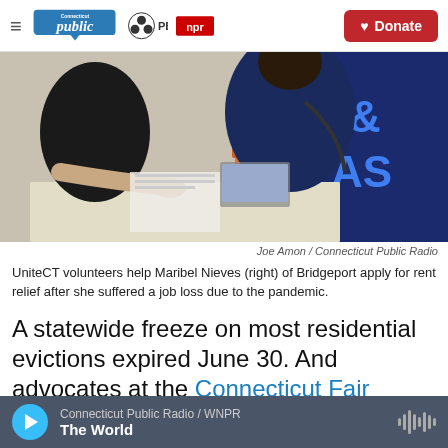Connecticut Public | PBS | NPR | Donate
[Figure (photo): UniteCT volunteers at a table helping a person (seen from behind, wearing a dark blue shirt) apply for rent relief at an outdoor event. A banner in the background reads 'PAST'.]
Joe Amon / Connecticut Public Radio
UniteCT volunteers help Maribel Nieves (right) of Bridgeport apply for rent relief after she suffered a job loss due to the pandemic.
A statewide freeze on most residential evictions expired June 30. And advocates at the Connecticut Fair Housing Center are worried about the more than 130,000
Connecticut Public Radio / WNPR | The World